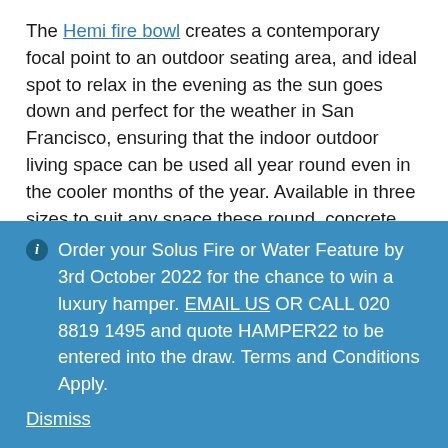The Hemi fire bowl creates a contemporary focal point to an outdoor seating area, and ideal spot to relax in the evening as the sun goes down and perfect for the weather in San Francisco, ensuring that the indoor outdoor living space can be used all year round even in the cooler months of the year. Available in three sizes to suit any space these round, concrete fire pits add heat, atmosphere and simple beauty. Our
Order your Solus Fire or Water Feature by 3rd October 2022 for the chance to win a luxury hamper. EMAIL US OR CALL 020 8819 1495 and quote HAMPER22 to be entered into the draw. Terms and Conditions Apply.
Dismiss